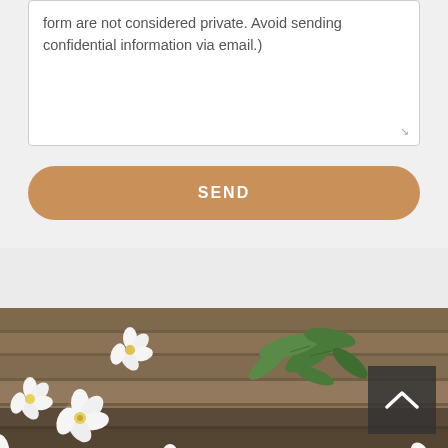form are not considered private.  Avoid sending confidential information via email.)
SEND
[Figure (photo): Background photo of white blossoms and green leaves on a wooden plank surface, with a 'Testimonials' heading overlaid]
Testimonials